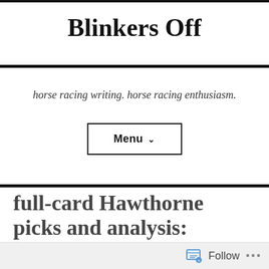Blinkers Off
horse racing writing. horse racing enthusiasm.
Menu
full-card Hawthorne picks and analysis: 11.21.15
rowan ward / November 21, 2015 / Hawthorne